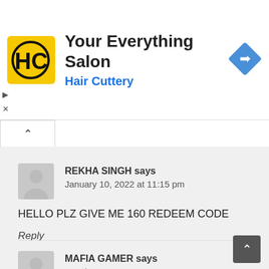[Figure (logo): Hair Cuttery ad banner with yellow HC logo, title 'Your Everything Salon', subtitle 'Hair Cuttery', and blue navigation diamond icon]
REKHA SINGH says
January 10, 2022 at 11:15 pm
HELLO PLZ GIVE ME 160 REDEEM CODE
Reply
MAFIA GAMER says
March 20, 2022 at 1:49 pm